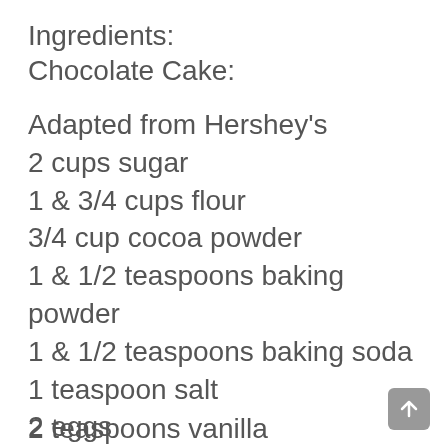Ingredients:
Chocolate Cake:
Adapted from Hershey's
2 cups sugar
1 & 3/4 cups flour
3/4 cup cocoa powder
1 & 1/2 teaspoons baking powder
1 & 1/2 teaspoons baking soda
1 teaspoon salt
2 eggs
1 cup milk or heavy Cream
1/2 cup vegetable oil
2 teaspoons vanilla